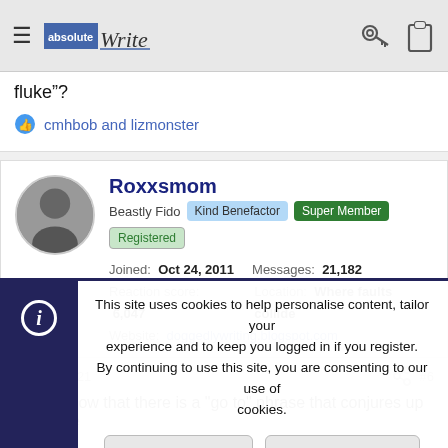[Figure (screenshot): Navigation bar with hamburger menu, AbsoluteWrite logo, key icon and clipboard icon]
fluke"?
cmhbob and lizmonster
Roxxsmom
Beastly Fido  Kind Benefactor  Super Member  Registered
Joined: Oct 24, 2011  Messages: 21,182
Reaction score: 6,047  Location: Where faults collide
Website: doggedlywriting.blogspot.com
Sep 29, 2021
I don't know that there is a "go to" phrase that conjures up the same
This site uses cookies to help personalise content, tailor your experience and to keep you logged in if you register.
By continuing to use this site, you are consenting to our use of cookies.